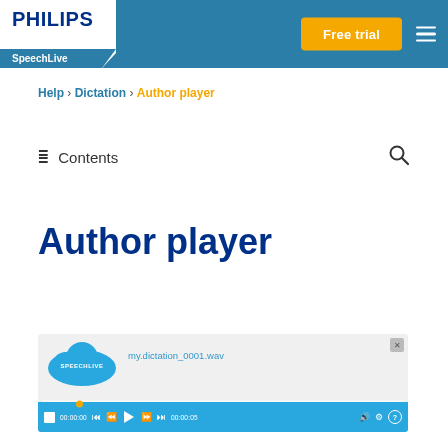[Figure (screenshot): Philips SpeechLive website header with logo, Free trial button, and hamburger menu on a teal background]
Help › Dictation › Author player
Contents
Author player
[Figure (screenshot): SpeechLive author player interface showing cloud logo, filename my.dictation_0001.wav, and audio playback controls bar in blue]